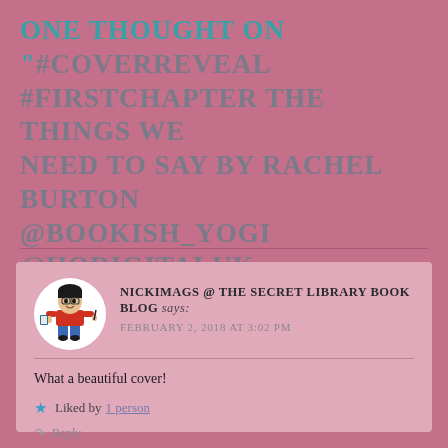ONE THOUGHT ON "#COVERREVEAL #FIRSTCHAPTER THE THINGS WE NEED TO SAY BY RACHEL BURTON @BOOKISH_YOGI @HQDIGITALUK @RARARESOURCES"
[Figure (illustration): Cartoon avatar of a person with dark hair wearing a red shirt and blue jeans, holding a book and pen, inside a white circle]
NICKIMAGS @ THE SECRET LIBRARY BOOK BLOG says: FEBRUARY 2, 2018 AT 3:02 PM
What a beautiful cover!
Liked by 1 person
Reply